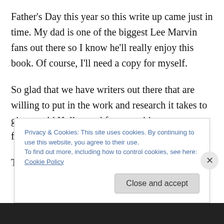Father's Day this year so this write up came just in time. My dad is one of the biggest Lee Marvin fans out there so I know he'll really enjoy this book. Of course, I'll need a copy for myself.
So glad that we have writers out there that are willing to put in the work and research it takes to give us old Hollywood fans new bios on our favorite stars.
Thanks again, John and Dwayne for the open
Privacy & Cookies: This site uses cookies. By continuing to use this website, you agree to their use.
To find out more, including how to control cookies, see here: Cookie Policy